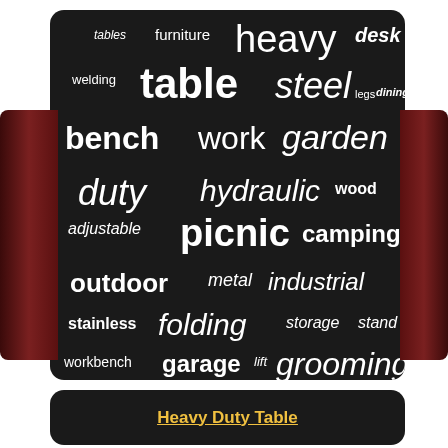[Figure (infographic): Word cloud on dark background showing terms related to heavy duty tables: heavy, table, steel, desk, tables, furniture, welding, legs, dining, bench, work, garden, duty, hydraulic, wood, adjustable, picnic, camping, outdoor, metal, industrial, stainless, folding, storage, stand, workbench, garage, lift, grooming, portable, kitchen, workshop, wooden, solid, large]
Heavy Duty Table